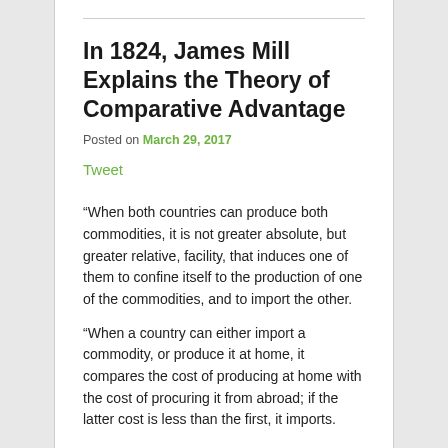In 1824, James Mill Explains the Theory of Comparative Advantage
Posted on March 29, 2017
Tweet
“When both countries can produce both commodities, it is not greater absolute, but greater relative, facility, that induces one of them to confine itself to the production of one of the commodities, and to import the other.
“When a country can either import a commodity, or produce it at home, it compares the cost of producing at home with the cost of procuring it from abroad; if the latter cost is less than the first, it imports.